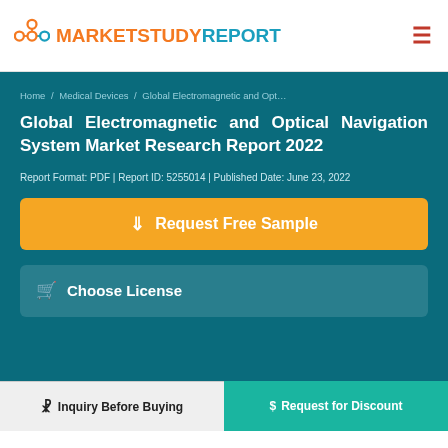MARKETSTUDYREPORT
Home / Medical Devices / Global Electromagnetic and Opt...
Global Electromagnetic and Optical Navigation System Market Research Report 2022
Report Format: PDF | Report ID: 5255014 | Published Date: June 23, 2022
Request Free Sample
Choose License
Inquiry Before Buying
$ Request for Discount